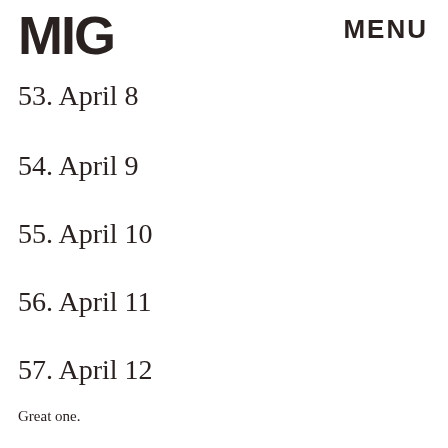[Figure (logo): MIG logo in large bold black letters]
MENU
53. April 8
54. April 9
55. April 10
56. April 11
57. April 12
Great one.